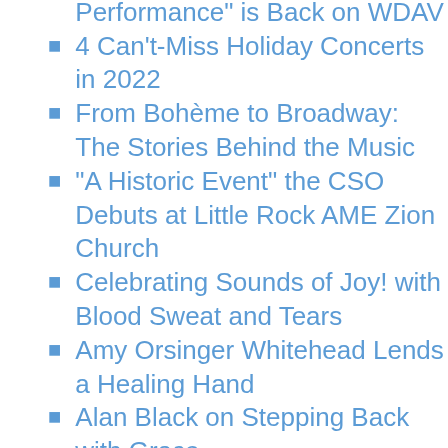“Charlotte Symphony in Performance” is Back on WDAV
4 Can’t-Miss Holiday Concerts in 2022
From Bohème to Broadway: The Stories Behind the Music
“A Historic Event” the CSO Debuts at Little Rock AME Zion Church
Celebrating Sounds of Joy! with Blood Sweat and Tears
Amy Orsinger Whitehead Lends a Healing Hand
Alan Black on Stepping Back with Grace
The Charlotte Symphony is… Educating! With Youth Ensemble Conductor Eric